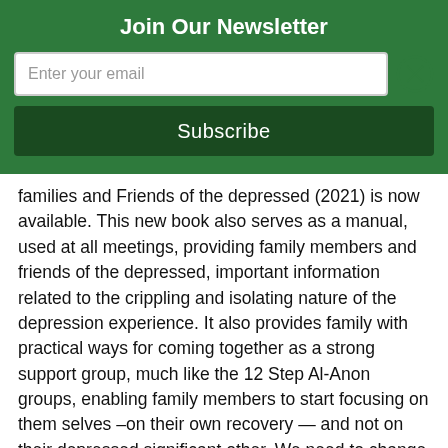Join Our Newsletter
families and Friends of the depressed (2021) is now available. This new book also serves as a manual, used at all meetings, providing family members and friends of the depressed, important information related to the crippling and isolating nature of the depression experience. It also provides family with practical ways for coming together as a strong support group, much like the 12 Step Al-Anon groups, enabling family members to start focusing on them selves –on their own recovery — and not on their depressed significant other. We need to change ourselves first. Trying to change someone else is usually futile.
Dep-Anon will have a positive symbiotic relationship with the depressed family member's own recovery program, Depressed Anonymous. Not only will the family group become more alert